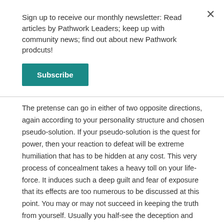Sign up to receive our monthly newsletter: Read articles by Pathwork Leaders; keep up with community news; find out about new Pathwork prodcuts!
Subscribe
The pretense can go in either of two opposite directions, again according to your personality structure and chosen pseudo-solution. If your pseudo-solution is the quest for power, then your reaction to defeat will be extreme humiliation that has to be hidden at any cost. This very process of concealment takes a heavy toll on your life-force. It induces such a deep guilt and fear of exposure that its effects are too numerous to be discussed at this point. You may or may not succeed in keeping the truth from yourself. Usually you half-see the deception and pretense, and remain half unaware of the extent to which you deceive others as well as yourself.